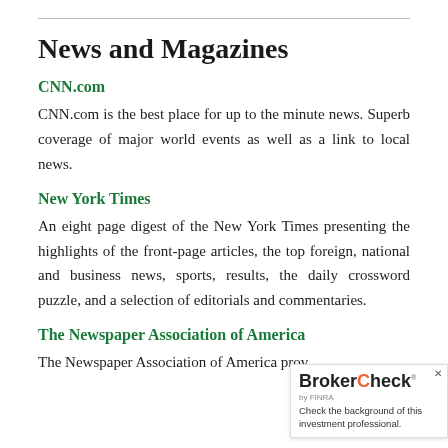News and Magazines
CNN.com
CNN.com is the best place for up to the minute news. Superb coverage of major world events as well as a link to local news.
New York Times
An eight page digest of the New York Times presenting the highlights of the front-page articles, the top foreign, national and business news, sports, results, the daily crossword puzzle, and a selection of editorials and commentaries.
The Newspaper Association of America
The Newspaper Association of America prov…